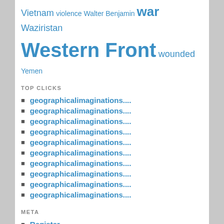Vietnam violence Walter Benjamin war Waziristan Western Front wounded Yemen
TOP CLICKS
geographicalimaginations....
geographicalimaginations....
geographicalimaginations....
geographicalimaginations....
geographicalimaginations....
geographicalimaginations....
geographicalimaginations....
geographicalimaginations....
geographicalimaginations....
geographicalimaginations....
META
Register
Log in
Entries feed
Comments feed